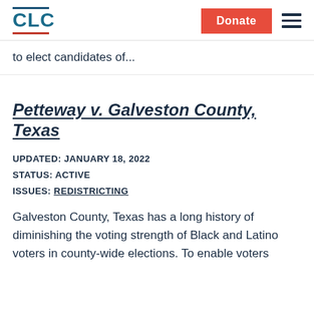CLC | Donate
to elect candidates of...
Petteway v. Galveston County, Texas
UPDATED: JANUARY 18, 2022
STATUS: ACTIVE
ISSUES: REDISTRICTING
Galveston County, Texas has a long history of diminishing the voting strength of Black and Latino voters in county-wide elections. To enable voters